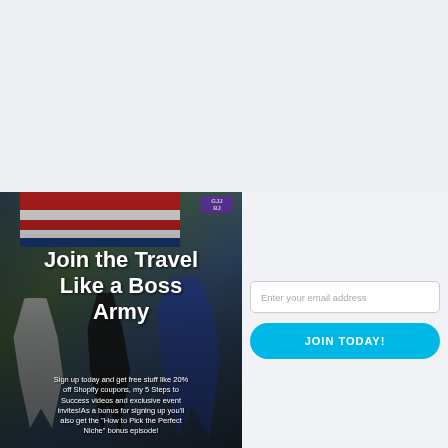[Figure (photo): Martial arts / BJJ gym photo showing practitioners in white and blue gis jumping and celebrating, with a red-white-blue flag banner in the background and a purple BJJ sign. Text overlay includes 'Join the Travel Like a Boss Army' title and signup body text.]
Join the Travel Like a Boss Army
Sign up today and get free stuff like 20% off Shopify coupons, my 5 Steps to Success videos and exclusive event invites!As a bonus for signing up you'll also get the "How to Pick the Perfect Niche" bonus episode!
Enter your email address
JOIN TODAY!